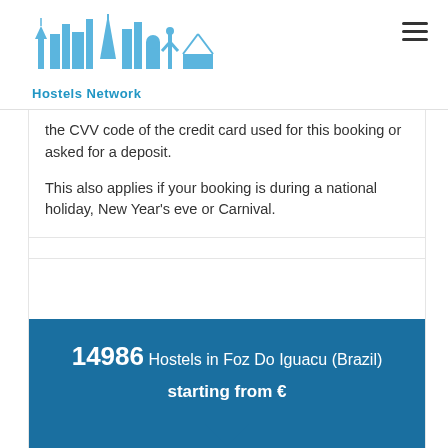Hostels Network
the CVV code of the credit card used for this booking or asked for a deposit.

This also applies if your booking is during a national holiday, New Year's eve or Carnival.
14986 Hostels in Foz Do Iguacu (Brazil)
starting from €